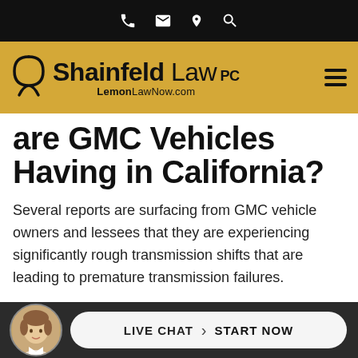[Figure (screenshot): Top black navigation bar with phone, email, location, and search icons in white]
[Figure (logo): Shainfeld Law PC logo with LemonLawNow.com on golden/yellow background with hamburger menu icon]
are GMC Vehicles Having in California?
Several reports are surfacing from GMC vehicle owners and lessees that they are experiencing significantly rough transmission shifts that are leading to premature transmission failures.
The most common signs of a defective transmission in affected GMC v...
[Figure (screenshot): Live chat bar at bottom with avatar photo of woman, pill-shaped button reading LIVE CHAT > START NOW]